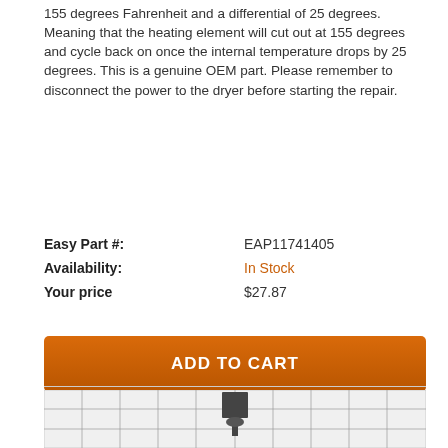155 degrees Fahrenheit and a differential of 25 degrees. Meaning that the heating element will cut out at 155 degrees and cycle back on once the internal temperature drops by 25 degrees. This is a genuine OEM part. Please remember to disconnect the power to the dryer before starting the repair.
| Easy Part #: | EAP11741405 |
| Availability: | In Stock |
| Your price | $27.87 |
[Figure (other): Orange 'ADD TO CART' button]
[Figure (photo): Product photo of a small dark-colored thermostat or heating component on a grid/graph paper background]